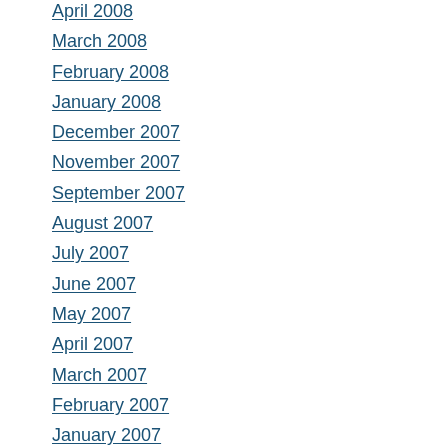April 2008
March 2008
February 2008
January 2008
December 2007
November 2007
September 2007
August 2007
July 2007
June 2007
May 2007
April 2007
March 2007
February 2007
January 2007
December 2006
November 2006
October 2006
September 2006